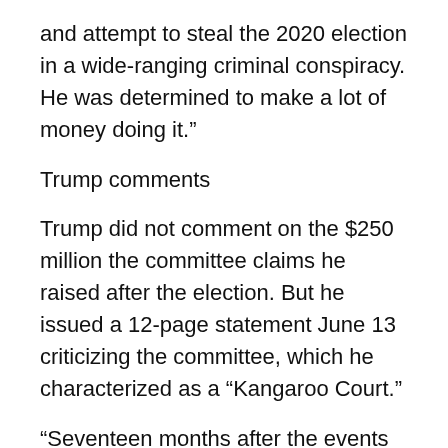and attempt to steal the 2020 election in a wide-ranging criminal conspiracy. He was determined to make a lot of money doing it.”
Trump comments
Trump did not comment on the $250 million the committee claims he raised after the election. But he issued a 12-page statement June 13 criticizing the committee, which he characterized as a “Kangaroo Court.”
“Seventeen months after the events of January 6th, Democrats are unable to offer solutions,” he wrote. “They are desperate to change the narrative of a failing nation,